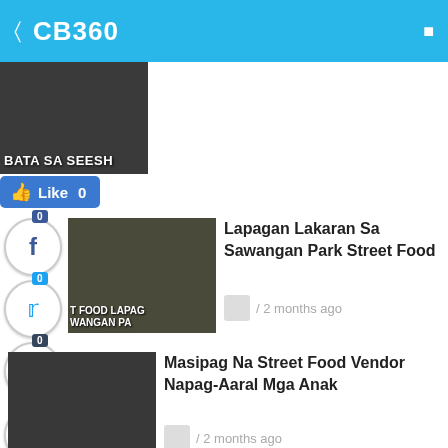CB360
[Figure (screenshot): Partial thumbnail image with text BATA SA SEESH visible]
Like 0
[Figure (screenshot): Facebook share button with count 0]
[Figure (screenshot): Twitter share button with count 0]
[Figure (screenshot): Tumblr share button with count 0]
[Figure (screenshot): Print button]
[Figure (screenshot): Email button]
0
Shares
[Figure (photo): Thumbnail image for Lapagan Lakaran Sa Sawangan Park Street Food article, showing food stall]
Lapagan Lakaran Sa Sawangan Park Street Food
/ 2 months ago
[Figure (photo): Thumbnail image for Masipag Na Street Food Vendor Napag-Aaral Mga Anak article]
Masipag Na Street Food Vendor Napag-Aaral Mga Anak
/ 2 months ago
[Figure (photo): Thumbnail image for Sari-Saring Eksenang Street Food Atbp. Sa Embarcadero article]
Sari-Saring Eksenang Street Food Atbp. Sa Embarcadero